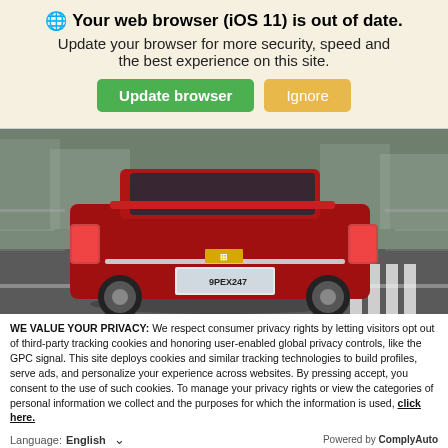Your web browser (iOS 11) is out of date.
Update your browser for more security, speed and the best experience on this site.
[Figure (screenshot): Red Chevrolet hatchback car driving on a city street, motion-blurred background, rear three-quarter view]
WE VALUE YOUR PRIVACY: We respect consumer privacy rights by letting visitors opt out of third-party tracking cookies and honoring user-enabled global privacy controls, like the GPC signal. This site deploys cookies and similar tracking technologies to build profiles, serve ads, and personalize your experience across websites. By pressing accept, you consent to the use of such cookies. To manage your privacy rights or view the categories of personal information we collect and the purposes for which the information is used, click here.
Language: English    Powered by ComplyAuto